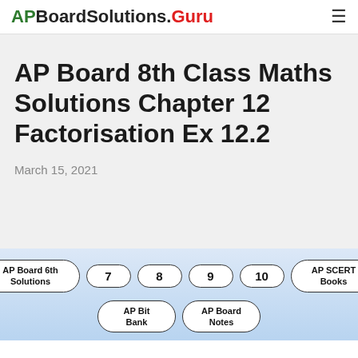APBoardSolutions.Guru
AP Board 8th Class Maths Solutions Chapter 12 Factorisation Ex 12.2
March 15, 2021
AP Board 6th Solutions
7
8
9
10
AP SCERT Books
AP Bit Bank
AP Board Notes